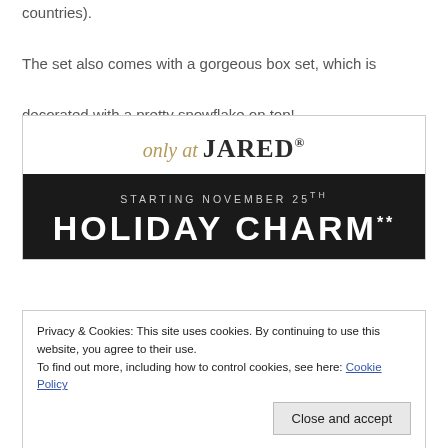countries).
The set also comes with a gorgeous box set, which is decorated with a pretty snowflake on top!
[Figure (screenshot): Jared jewelry advertisement showing 'only at JARED®' header with dark banner reading 'STARTING NOVEMBER 25TH HOLIDAY CHARM**']
Privacy & Cookies: This site uses cookies. By continuing to use this website, you agree to their use.
To find out more, including how to control cookies, see here: Cookie Policy
[Figure (photo): Bottom sliver of a dark red/maroon image, partially visible at the bottom of the page]